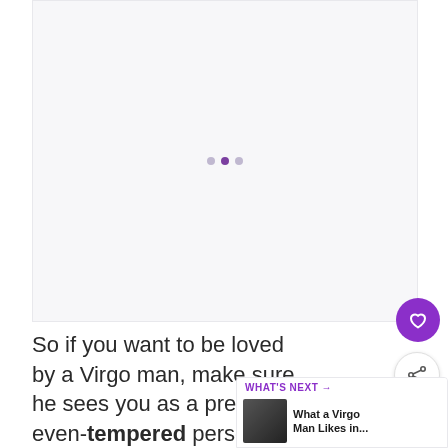[Figure (photo): Light gray placeholder image area with three small dots in the center indicating a loading or carousel state]
So if you want to be loved by a Virgo man, make sure he sees you as a pretty even-tempered person.
[Figure (screenshot): WHAT'S NEXT panel showing thumbnail and title 'What a Virgo Man Likes in...']